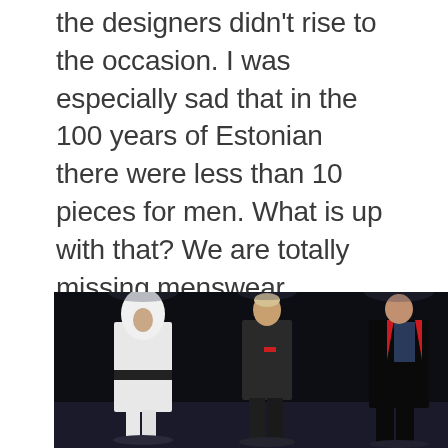the designers didn't rise to the occasion. I was especially sad that in the 100 years of Estonian there were less than 10 pieces for men. What is up with that? We are totally missing menswear designers in Estonia. I guess that the fact that Mark Raidpere's video excited me more than the fashion I saw says a lot. Yet again don't get me wrong everything was well made and there were pieces I loved but overall picture was lacking the glam and brilliance and excitement that I was expecting for a century's worth of fashion history. Anyhow judge for yourself here are some random shots and basically all the menswear looks.
[Figure (photo): Fashion show photograph showing three models on a dark stage: left model in white dress with white head covering and black belt, center model in dark tracksuit, right model in black suit with red lapels.]